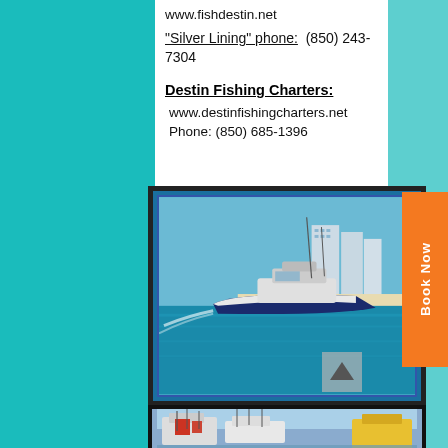www.fishdestin.net
"Silver Lining" phone:  (850) 243-7304
Destin Fishing Charters:
www.destinfishingcharters.net
Phone: (850) 685-1396
[Figure (photo): A white sport fishing boat speeding across the water near a coastal resort with tall buildings in the background, blue sky, framed with dark border]
[Figure (photo): Multiple fishing charter boats docked at a marina, with yellow boat visible on right]